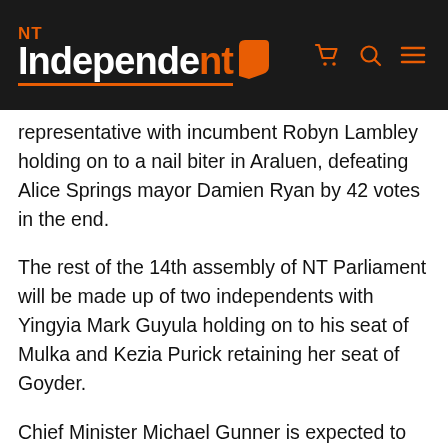NT Independent
representative with incumbent Robyn Lambley holding on to a nail biter in Araluen, defeating Alice Springs mayor Damien Ryan by 42 votes in the end.
The rest of the 14th assembly of NT Parliament will be made up of two independents with Yingyia Mark Guyula holding on to his seat of Mulka and Kezia Purick retaining her seat of Goyder.
Chief Minister Michael Gunner is expected to announce his new ministry early next week, after losing Territory Families and Energy Minister Dale Wakefield in the Braitling contest and retiring Housing Minister Gerry McCarthy.